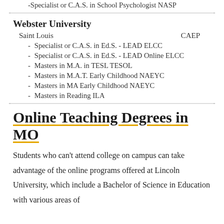Specialist or C.A.S. in School Psychologist NASP
Webster University
Saint Louis    CAEP
Specialist or C.A.S. in Ed.S. - LEAD ELCC
Specialist or C.A.S. in Ed.S. - LEAD Online ELCC
Masters in M.A. in TESL TESOL
Masters in M.A.T. Early Childhood NAEYC
Masters in MA Early Childhood NAEYC
Masters in Reading ILA
Online Teaching Degrees in MO
Students who can't attend college on campus can take advantage of the online programs offered at Lincoln University, which include a Bachelor of Science in Education with various areas of